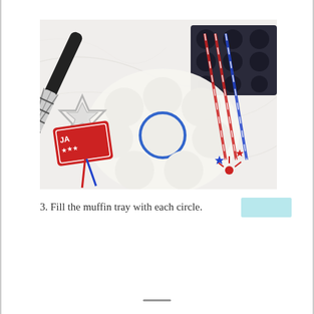[Figure (photo): A flat-lay photo on a white marble surface showing baking supplies: a black and white plaid-handled rolling pin, a dark mini muffin tin, cookie cutter star shapes, round dough circles cut out with one circled in blue, patriotic red/white/blue striped straws, festive star decorations in red white and blue, and a red decorative tag.]
3. Fill the muffin tray with each circle.